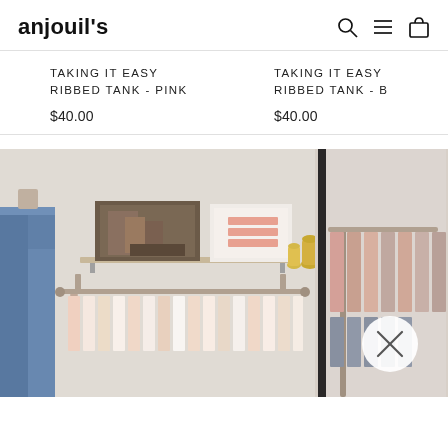anjouil's
TAKING IT EASY RIBBED TANK - PINK
$40.00
TAKING IT EASY RIBBED TANK - B
$40.00
[Figure (photo): Interior of a clothing boutique store with denim jeans hanging on left, a rack of pink and white tops in the center, decorative art and yellow vases on a shelf above, and more clothing racks on the right side with a window. A circular white close/X button is overlaid on the right side.]